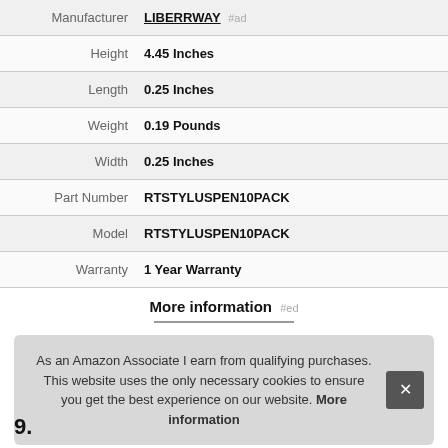| Label | Value |
| --- | --- |
| Manufacturer | LIBERRWAY #ad |
| Height | 4.45 Inches |
| Length | 0.25 Inches |
| Weight | 0.19 Pounds |
| Width | 0.25 Inches |
| Part Number | RTSTYLUSPEN10PACK |
| Model | RTSTYLUSPEN10PACK |
| Warranty | 1 Year Warranty |
More information #ed
As an Amazon Associate I earn from qualifying purchases. This website uses the only necessary cookies to ensure you get the best experience on our website. More information
9.